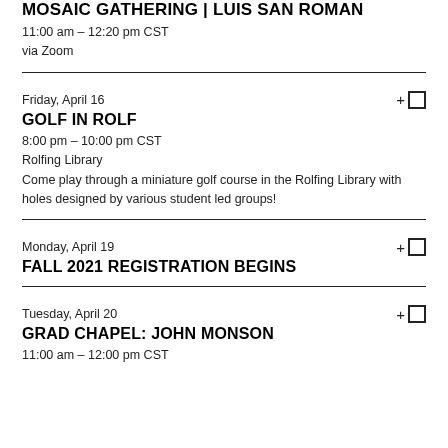MOSAIC GATHERING | LUIS SAN ROMAN
11:00 am – 12:20 pm CST
via Zoom
Friday, April 16
GOLF IN ROLF
8:00 pm – 10:00 pm CST
Rolfing Library
Come play through a miniature golf course in the Rolfing Library with holes designed by various student led groups!
Monday, April 19
FALL 2021 REGISTRATION BEGINS
Tuesday, April 20
GRAD CHAPEL: JOHN MONSON
11:00 am – 12:00 pm CST